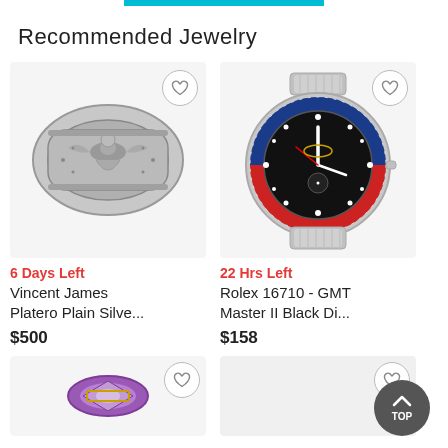Recommended Jewelry
[Figure (photo): Silver cuff bracelet with eagle/thunderbird design, Native American style]
6 Days Left
Vincent James Platero Plain Silve...
$500
[Figure (photo): Rolex 16710 GMT Master II watch with black dial, blue and red bezel, stainless steel bracelet]
22 Hrs Left
Rolex 16710 - GMT Master II Black Di...
$158
[Figure (photo): Partial view of a purple/amethyst gemstone jewelry piece]
[Figure (photo): Partial view of another jewelry item (bottom right, mostly cropped)]